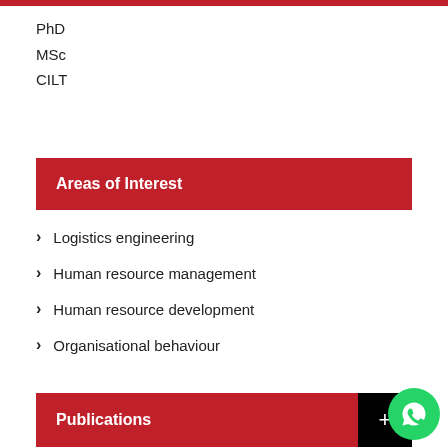PhD
MSc
CILT
Areas of Interest
Logistics engineering
Human resource management
Human resource development
Organisational behaviour
Publications
Awards and Achievements
List of Postgraduate